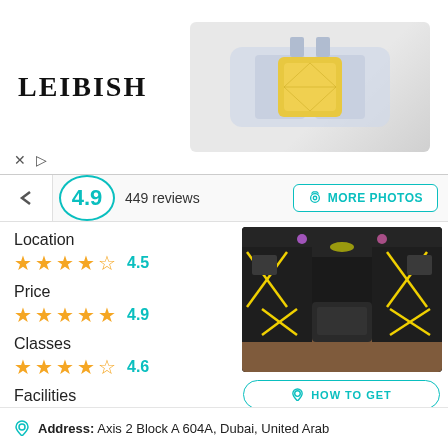[Figure (logo): LEIBISH brand logo in bold serif font]
[Figure (photo): Leibish jewelry advertisement showing a fancy yellow diamond ring in a silver/platinum setting]
4.9  449 reviews
MORE PHOTOS
Location
★★★★☆ 4.5
Price
★★★★★ 4.9
Classes
★★★★☆ 4.6
Facilities
★★★★☆ 4.5
Teachers
★★★★☆ 4.3
[Figure (photo): Interior photo of a venue with dark walls, yellow neon lighting in X and diamond patterns, and wooden flooring]
HOW TO GET
TO CALL
WHATSAPP
WEB PAGE
Address: Axis 2 Block A 604A, Dubai, United Arab